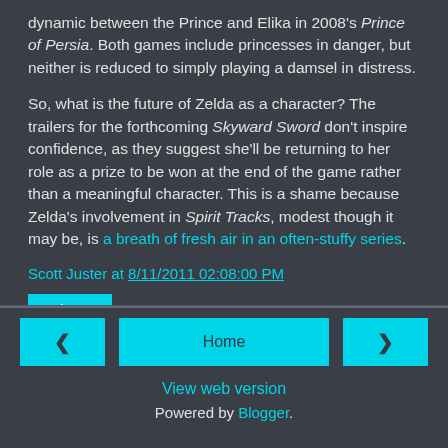dynamic between the Prince and Elika in 2008's Prince of Persia. Both games include princesses in danger, but neither is reduced to simply playing a damsel in distress.
So, what is the future of Zelda as a character? The trailers for the forthcoming Skyward Sword don't inspire confidence, as they suggest she'll be returning to her role as a prize to be won at the end of the game rather than a meaningful character. This is a shame because Zelda's involvement in Spirit Tracks, modest though it may be, is a breath of fresh air in an often-stuffy series.
Scott Juster at 8/11/2011 02:08:00 PM
Share
< Home >
View web version
Powered by Blogger.